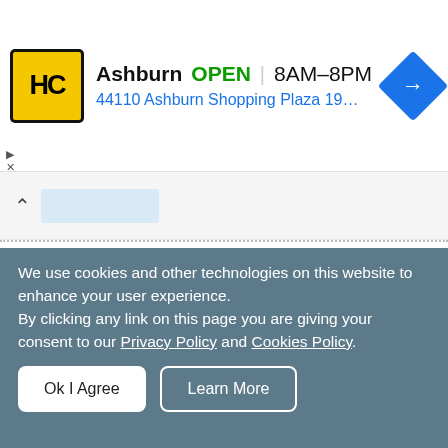[Figure (screenshot): Advertisement banner for HC (H-Mart or similar) showing Ashburn store: yellow/black logo, OPEN status, hours 8AM-8PM, address 44110 Ashburn Shopping Plaza 190 A..., blue navigation arrow icon]
[Figure (screenshot): Navigation/scroll bar area with up chevron and a light blue bar placeholder]
[Figure (illustration): Cartoon fairy tale illustration showing a blonde girl in red/white dress and an old witch/woman with purple cloak near a gingerbread house with candy canes and trees]
World's Best and Most Popular Fairy Tales to Read For Kids Every Night
We use cookies and other technologies on this website to enhance your user experience.
By clicking any link on this page you are giving your consent to our Privacy Policy and Cookies Policy.
Ok I Agree
Learn More